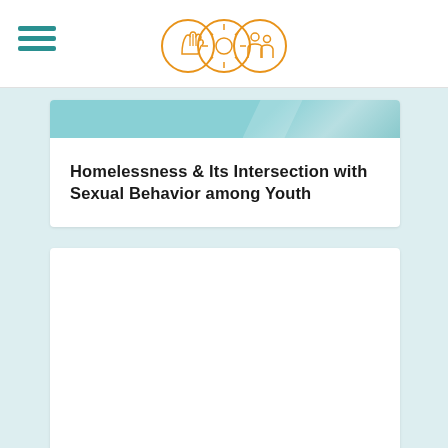Navigation header with hamburger menu and organization logo
Homelessness & Its Intersection with Sexual Behavior among Youth
[Figure (other): Empty white content card below the title card]